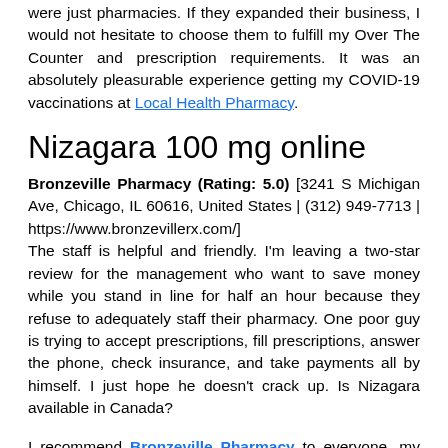were just pharmacies. If they expanded their business, I would not hesitate to choose them to fulfill my Over The Counter and prescription requirements. It was an absolutely pleasurable experience getting my COVID-19 vaccinations at Local Health Pharmacy.
Nizagara 100 mg online
Bronzeville Pharmacy (Rating: 5.0) [3241 S Michigan Ave, Chicago, IL 60616, United States | (312) 949-7713 | https://www.bronzevillerx.com/] The staff is helpful and friendly. I'm leaving a two-star review for the management who want to save money while you stand in line for half an hour because they refuse to adequately staff their pharmacy. One poor guy is trying to accept prescriptions, fill prescriptions, answer the phone, check insurance, and take payments all by himself. I just hope he doesn't crack up. Is Nizagara available in Canada?
I recommend Bronzeville Pharmacy to everyone, my family, my parents and I are patient here at the pharmacy.. pharmacist Maaly is an amazing person, very